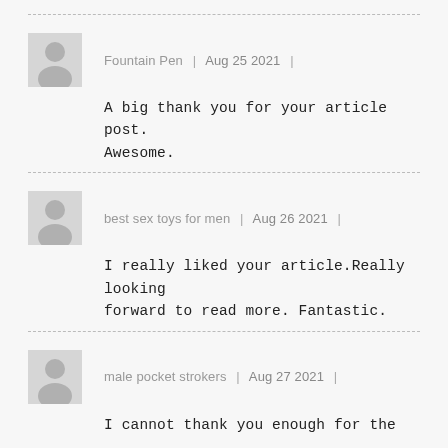Fountain Pen | Aug 25 2021 |
A big thank you for your article post. Awesome.
best sex toys for men | Aug 26 2021 |
I really liked your article.Really looking forward to read more. Fantastic.
male pocket strokers | Aug 27 2021 |
I cannot thank you enough for the